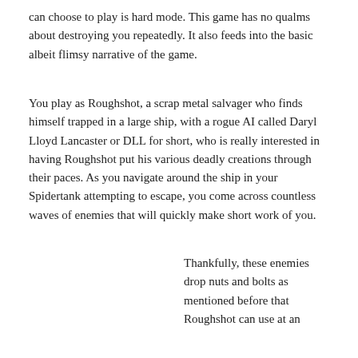can choose to play is hard mode. This game has no qualms about destroying you repeatedly. It also feeds into the basic albeit flimsy narrative of the game.
You play as Roughshot, a scrap metal salvager who finds himself trapped in a large ship, with a rogue AI called Daryl Lloyd Lancaster or DLL for short, who is really interested in having Roughshot put his various deadly creations through their paces. As you navigate around the ship in your Spidertank attempting to escape, you come across countless waves of enemies that will quickly make short work of you.
Thankfully, these enemies drop nuts and bolts as mentioned before that Roughshot can use at an